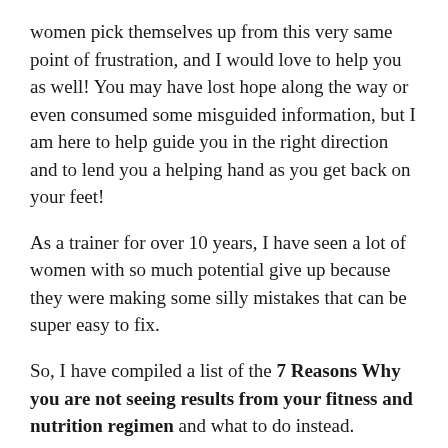women pick themselves up from this very same point of frustration, and I would love to help you as well! You may have lost hope along the way or even consumed some misguided information, but I am here to help guide you in the right direction and to lend you a helping hand as you get back on your feet!
As a trainer for over 10 years, I have seen a lot of women with so much potential give up because they were making some silly mistakes that can be super easy to fix.
So, I have compiled a list of the 7 Reasons Why you are not seeing results from your fitness and nutrition regimen and what to do instead.
Here they are:
1. Unrealistic expectations/goals